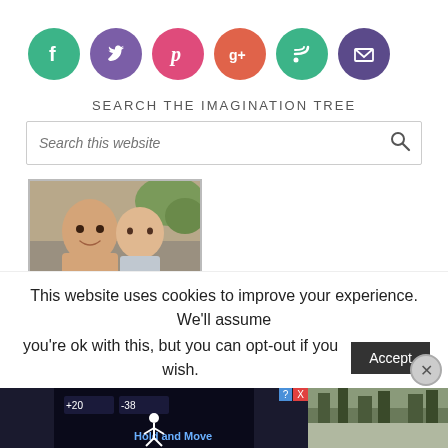[Figure (infographic): Row of 6 social media icon circles: Facebook (teal/green), Twitter (purple), Pinterest (pink), Google+ (salmon/red), RSS (green), Email (purple)]
SEARCH THE IMAGINATION TREE
[Figure (screenshot): Search box with placeholder text 'Search this website' and a search magnifying glass icon on the right]
[Figure (photo): Photo of a woman and a baby/toddler, outdoors, portrait orientation, framed with a thin border]
This website uses cookies to improve your experience. We'll assume you're ok with this, but you can opt-out if you wish.
[Figure (screenshot): Cookie consent accept button and advertisement banner at the bottom of the page]